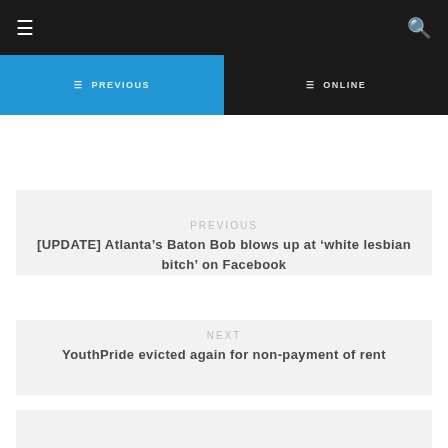☰  🔍
PREVIOUS | ONLINE
Previous
[UPDATE] Atlanta's Baton Bob blows up at 'white lesbian bitch' on Facebook
Next
YouthPride evicted again for non-payment of rent